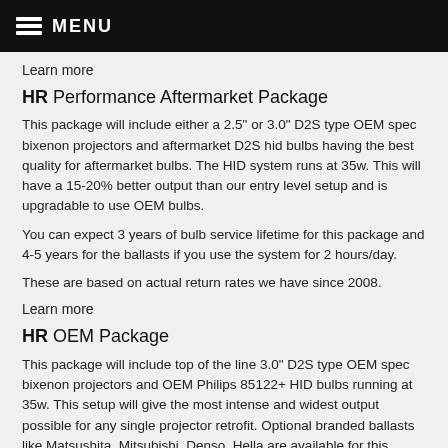MENU
Learn more
HR Performance Aftermarket Package
This package will include either a 2.5" or 3.0" D2S type OEM spec bixenon projectors and aftermarket D2S hid bulbs having the best quality for aftermarket bulbs. The HID system runs at 35w. This will have a 15-20% better output than our entry level setup and is upgradable to use OEM bulbs.
You can expect 3 years of bulb service lifetime for this package and 4-5 years for the ballasts if you use the system for 2 hours/day.
These are based on actual return rates we have since 2008.
Learn more
HR OEM Package
This package will include top of the line 3.0" D2S type OEM spec bixenon projectors and OEM Philips 85122+ HID bulbs running at 35w. This setup will give the most intense and widest output possible for any single projector retrofit. Optional branded ballasts like Matsushita, Mitsubishi, Denso, Hella are available for this package.